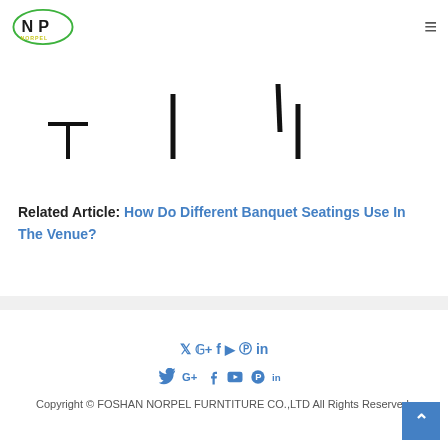NORPEL logo and navigation
[Figure (illustration): Partial silhouette outlines of banquet/furniture items (chairs/tables) in black on white background]
Related Article: How Do Different Banquet Seatings Use In The Venue?
Social icons (Twitter, Google+, Facebook, YouTube, Pinterest, LinkedIn)
Copyright © FOSHAN NORPEL FURNTITURE CO.,LTD All Rights Reserved.